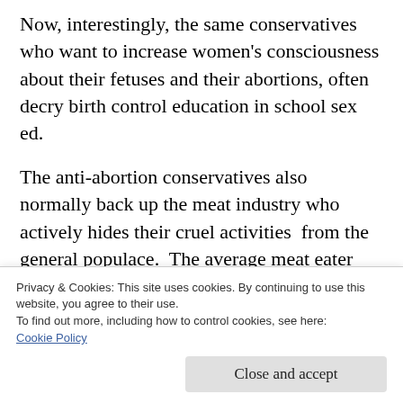Now, interestingly, the same conservatives who want to increase women's consciousness about their fetuses and their abortions, often decry birth control education in school sex ed.
The anti-abortion conservatives also normally back up the meat industry who actively hides their cruel activities  from the general populace.  The average meat eater would be appalled and turn vegetarian if he were constantly reminded of all the cruelty in
Privacy & Cookies: This site uses cookies. By continuing to use this website, you agree to their use.
To find out more, including how to control cookies, see here:
Cookie Policy
Close and accept